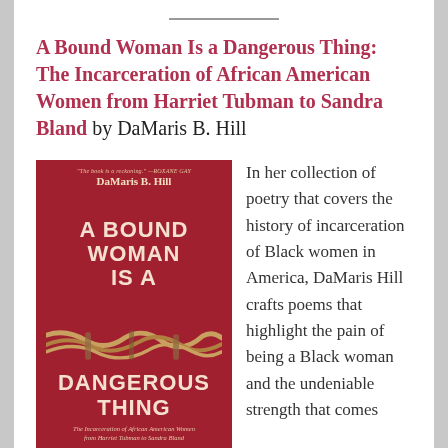A Bound Woman Is a Dangerous Thing: The Incarceration of African American Women from Harriet Tubman to Sandra Bland by DaMaris B. Hill
[Figure (illustration): Book cover of 'A Bound Woman Is a Dangerous Thing: The Incarceration of African American Women from Harriet Tubman to Sandra Bland' by DaMaris B. Hill. Red background with rope/twine imagery and white bold text.]
In her collection of poetry that covers the history of incarceration of Black women in America, DaMaris Hill crafts poems that highlight the pain of being a Black woman and the undeniable strength that comes